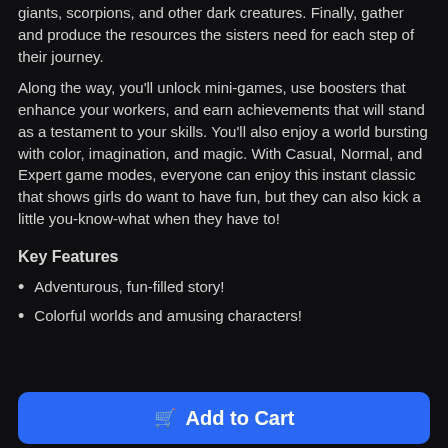giants, scorpions, and other dark creatures. Finally, gather and produce the resources the sisters need for each step of their journey.
Along the way, you'll unlock mini-games, use boosters that enhance your workers, and earn achievements that will stand as a testament to your skills. You'll also enjoy a world bursting with color, imagination, and magic. With Casual, Normal, and Expert game modes, everyone can enjoy this instant classic that shows girls do want to have fun, but they can also kick a little you-know-what when they have to!
Key Features
Adventurous, fun-filled story!
Colorful worlds and amusing characters!
Add to Cart